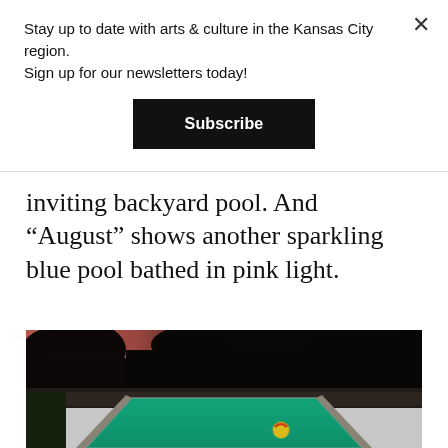Stay up to date with arts & culture in the Kansas City region. Sign up for our newsletters today!
Subscribe
inviting backyard pool. And “August” shows another sparkling blue pool bathed in pink light.
[Figure (photo): Nighttime/dusk photograph of a backyard swimming pool with glowing teal-blue water, a colorful inflatable ball floating in it, surrounded by dark silhouetted trees against a pink-orange sunset sky.]